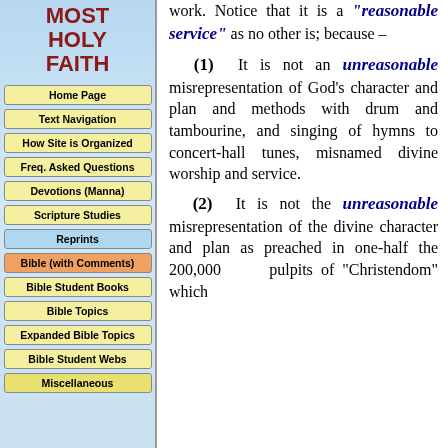MOST HOLY FAITH
Home Page
Text Navigation
How Site is Organized
Freq. Asked Questions
Devotions (Manna)
Scripture Studies
Reprints
Bible (with Comments)
Bible Student Books
Bible Topics
Expanded Bible Topics
Bible Student Webs
Miscellaneous
work. Notice that it is a "reasonable service" as no other is; because –
(1) It is not an unreasonable misrepresentation of God's character and plan and methods with drum and tambourine, and singing of hymns to concert-hall tunes, misnamed divine worship and service.
(2) It is not the unreasonable misrepresentation of the divine character and plan as preached in one-half the 200,000 pulpits of "Christendom" which